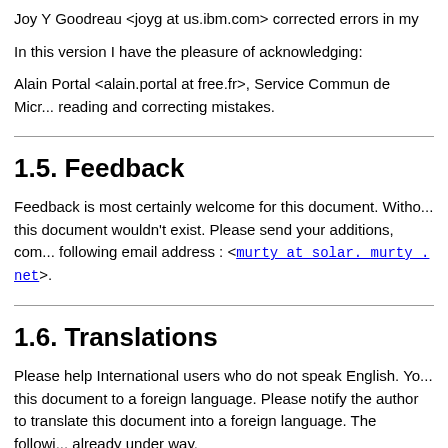Joy Y Goodreau <joyg at us.ibm.com> corrected errors in my
In this version I have the pleasure of acknowledging:
Alain Portal <alain.portal at free.fr>, Service Commun de Micr... reading and correcting mistakes.
1.5. Feedback
Feedback is most certainly welcome for this document. Witho... this document wouldn't exist. Please send your additions, com... following email address : <murty at solar. murty . net>.
1.6. Translations
Please help International users who do not speak English. Yo... this document to a foreign language. Please notify the author to translate this document into a foreign language. The followi... already under way.
French Translation is coming soon. Thanks go to Alain P...